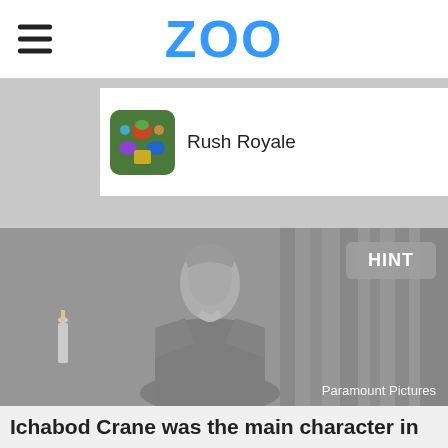ZOO
[Figure (screenshot): Rush Royale game advertisement banner with colorful game icon, game title 'Rush Royale', and 'PLAY NOW' call-to-action button]
[Figure (photo): Grayscale vintage photograph of a man in period clothing, resembling Ichabod Crane character. Credit: Paramount Pictures. HINT button overlay in top right.]
Ichabod Crane was the main character in